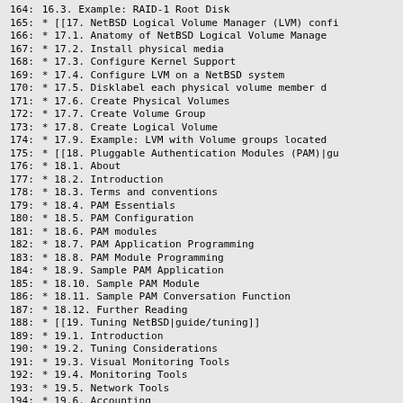164:       16.3. Example: RAID-1 Root Disk
165:   * [[17. NetBSD Logical Volume Manager (LVM) confi
166:       * 17.1. Anatomy of NetBSD Logical Volume Manage
167:       * 17.2. Install physical media
168:       * 17.3. Configure Kernel Support
169:       * 17.4. Configure LVM on a NetBSD system
170:       * 17.5. Disklabel each physical volume member d
171:       * 17.6. Create Physical Volumes
172:       * 17.7. Create Volume Group
173:       * 17.8. Create Logical Volume
174:       * 17.9. Example: LVM with Volume groups located
175:   * [[18. Pluggable Authentication Modules (PAM)|gu
176:       * 18.1. About
177:       * 18.2. Introduction
178:       * 18.3. Terms and conventions
179:       * 18.4. PAM Essentials
180:       * 18.5. PAM Configuration
181:       * 18.6. PAM modules
182:       * 18.7. PAM Application Programming
183:       * 18.8. PAM Module Programming
184:       * 18.9. Sample PAM Application
185:       * 18.10. Sample PAM Module
186:       * 18.11. Sample PAM Conversation Function
187:       * 18.12. Further Reading
188:   * [[19. Tuning NetBSD|guide/tuning]]
189:       * 19.1. Introduction
190:       * 19.2. Tuning Considerations
191:       * 19.3. Visual Monitoring Tools
192:       * 19.4. Monitoring Tools
193:       * 19.5. Network Tools
194:       * 19.6. Accounting